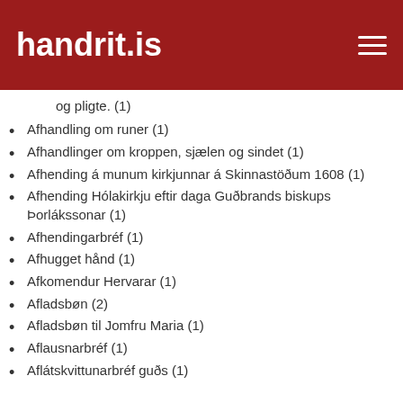handrit.is
og pligte. (1)
Afhandling om runer (1)
Afhandlinger om kroppen, sjælen og sindet (1)
Afhending á munum kirkjunnar á Skinnastöðum 1608 (1)
Afhending Hólakirkju eftir daga Guðbrands biskups Þorlákssonar (1)
Afhendingarbréf (1)
Afhugget hånd (1)
Afkomendur Hervarar (1)
Afladsbøn (2)
Afladsbøn til Jomfru Maria (1)
Aflausnarbréf (1)
Aflátskvittunarbréf guðs (1)